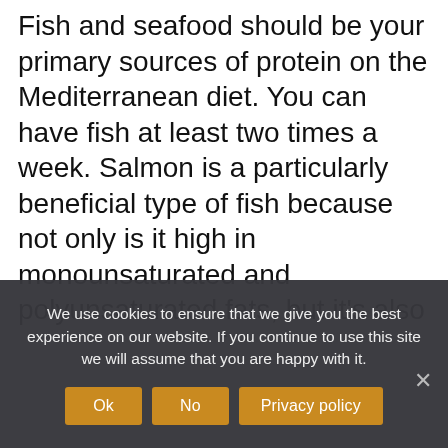Fish and seafood should be your primary sources of protein on the Mediterranean diet. You can have fish at least two times a week. Salmon is a particularly beneficial type of fish because not only is it high in monounsaturated and polyunsaturated fats, but it's also rich in omega-3 fatty acids. Omega-3s are a type of polyunsaturated fat that reduce inflammation throughout your body. They can help reduce your blood pressure, improve your cholesterol levels, reduce your risk of blood clots, make your immune system work better and protect your heart. For optimal health, you should aim for 800 to 1,000 milligrams of omega-3 fatty acids each day, states the University of Massachusetts Medical School. Just three ounces of salmon provide
We use cookies to ensure that we give you the best experience on our website. If you continue to use this site we will assume that you are happy with it.